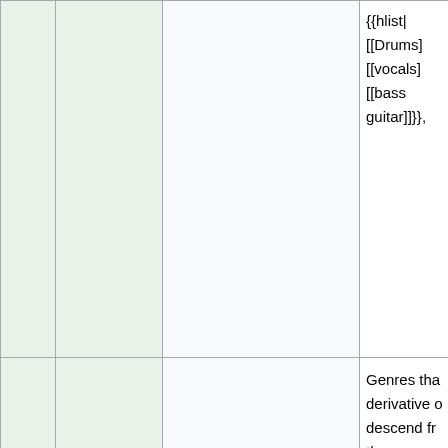|  |  |  |  |
| --- | --- | --- | --- |
|  |  |  | {{hlist|
[[Drums]
[[vocals]
[[bass
guitar]]}}, |
|  | Derivative forms | derivatives | Genres tha
derivative o
descend fr
the genre.

Zgled
[[Alterna
pop]] |
|  | Sub... |  | Title of exi
article, whi
lists the |